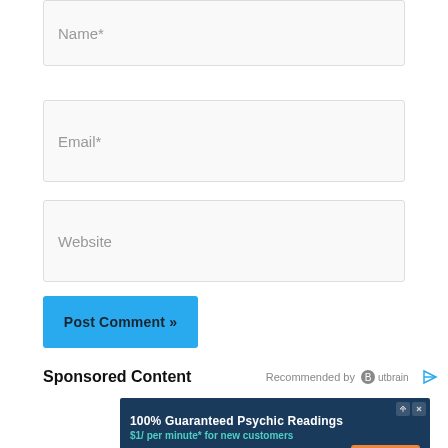Name*
Email*
Website
Post Comment »
Sponsored Content
Recommended by Outbrain
[Figure (screenshot): Advertisement banner for California Psychics. Dark blue background with text: 100% Guaranteed Psychic Readings, $1/ per minute* for new customers, California Psychics logo, Sign up now button, *20 minutes purchase required disclaimer.]